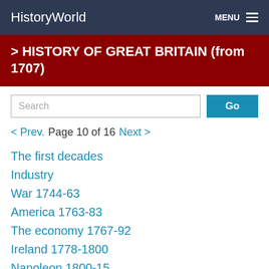HistoryWorld  MENU
> HISTORY OF GREAT BRITAIN (from 1707)
Search  Go
< Prev.  Page 10 of 16  Next >
The first decades
Industry
War 1744-63
America 1763-83
The economy 1767-92
Ireland 1778-1800
Napoleon 1800-15
The need for reform